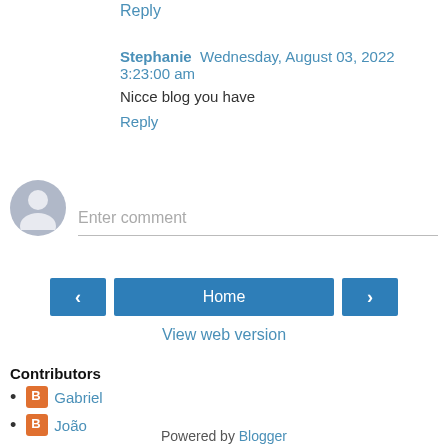Reply
Stephanie  Wednesday, August 03, 2022 3:23:00 am
Nicce blog you have
Reply
[Figure (illustration): User avatar placeholder circle with silhouette icon, next to 'Enter comment' input field with bottom border]
Home
View web version
Contributors
Gabriel
João
Powered by Blogger